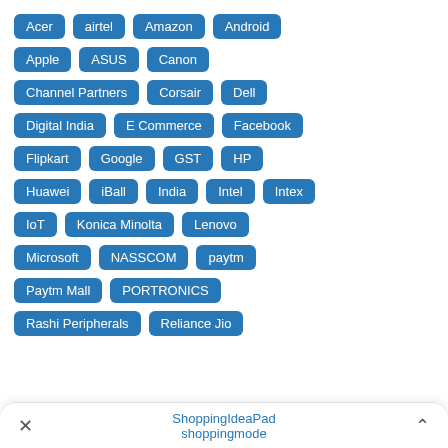Acer
airtel
Amazon
Android
Apple
ASUS
Canon
Channel Partners
Corsair
Dell
Digital India
E Commerce
Facebook
Flipkart
Google
GST
HP
Huawei
iBall
India
Intel
Intex
IoT
Konica Minolta
Lenovo
Microsoft
NASSCOM
paytm
Paytm Mall
PORTRONICS
Rashi Peripherals
Reliance Jio
ShoppingIdeaPad shoppingmode